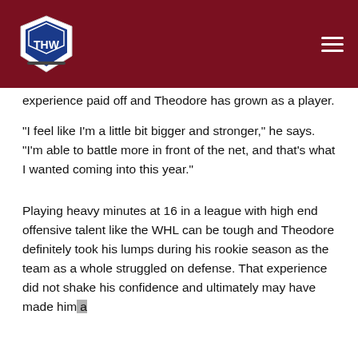THW (The Hockey Writers) logo and navigation bar
experience paid off and Theodore has grown as a player.
“I feel like I’m a little bit bigger and stronger,” he says. “I’m able to battle more in front of the net, and that’s what I wanted coming into this year.”
Playing heavy minutes at 16 in a league with high end offensive talent like the WHL can be tough and Theodore definitely took his lumps during his rookie season as the team as a whole struggled on defense. That experience did not shake his confidence and ultimately may have made him a